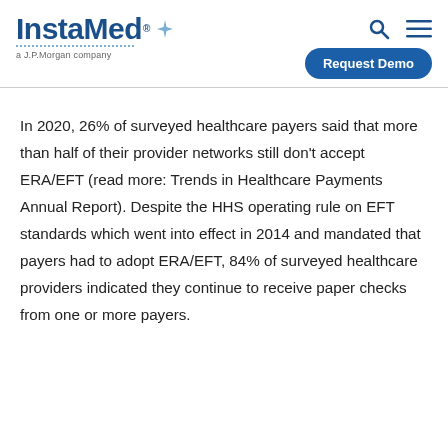[Figure (logo): InstaMed logo with tagline 'a J.P.Morgan company']
In 2020, 26% of surveyed healthcare payers said that more than half of their provider networks still don't accept ERA/EFT (read more: Trends in Healthcare Payments Annual Report).  Despite the HHS operating rule on EFT standards which went into effect in 2014 and mandated that payers had to adopt ERA/EFT, 84% of surveyed healthcare providers indicated they continue to receive paper checks from one or more payers.